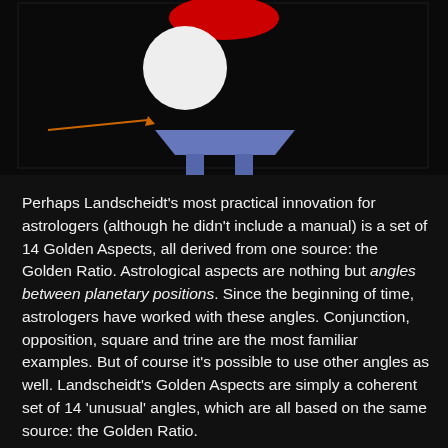[Figure (illustration): Dark background illustration showing an astrological or astronomical diagram with a telescope-like device, a white circle (moon or planet), a red element at top, and blue geometric shapes on a black background.]
Perhaps Landscheidt's most practical innovation for astrologers (although he didn't include a manual) is a set of 14 Golden Aspects, all derived from one source: the Golden Ratio. Astrological aspects are nothing but angles between planetary positions. Since the beginning of time, astrologers have worked with these angles. Conjunction, opposition, square and trine are the most familiar examples. But of course it's possible to use other angles as well. Landscheidt's Golden Aspects are simply a coherent set of 14 'unusual' angles, which are all based on the same source: the Golden Ratio.
So far, Landscheidt's Golden Aspects haven't been used much in astrology. In fact, they're pretty much neglected by the astrological mainstream. There might be several reasons for this. To begin with, Landscheidt was no 'typical